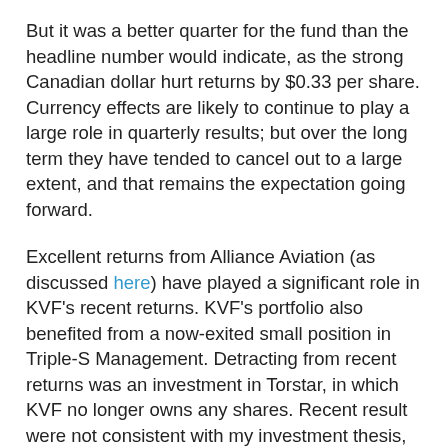But it was a better quarter for the fund than the headline number would indicate, as the strong Canadian dollar hurt returns by $0.33 per share. Currency effects are likely to continue to play a large role in quarterly results; but over the long term they have tended to cancel out to a large extent, and that remains the expectation going forward.
Excellent returns from Alliance Aviation (as discussed here) have played a significant role in KVF's recent returns. KVF's portfolio also benefited from a now-exited small position in Triple-S Management. Detracting from recent returns was an investment in Torstar, in which KVF no longer owns any shares. Recent result were not consistent with my investment thesis, suggesting I had made a misjudgement/mistake.
Finding value in today's markets remains challenging. It's difficult for me to believe that the returns of the past few years, both for the general markets and for KVF, can be replicated over the next few years. But I have felt this way for some time and yet both KVF and the markets have continued to deliver strong results, so who knows what the